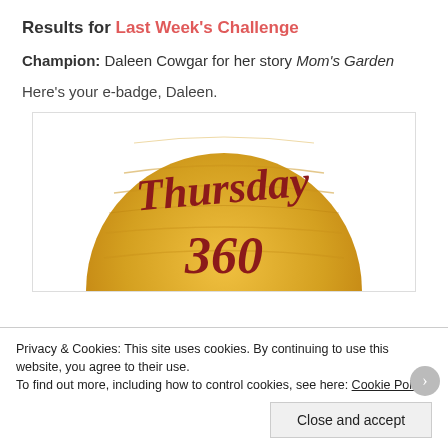Results for Last Week's Challenge
Champion: Daleen Cowgar for her story Mom's Garden
Here's your e-badge, Daleen.
[Figure (illustration): A circular wooden badge with wood grain texture in gold/tan color. Text reads 'Thursday 360' in dark red script lettering. Only the top half of the circle is visible.]
Privacy & Cookies: This site uses cookies. By continuing to use this website, you agree to their use.
To find out more, including how to control cookies, see here: Cookie Policy
Close and accept